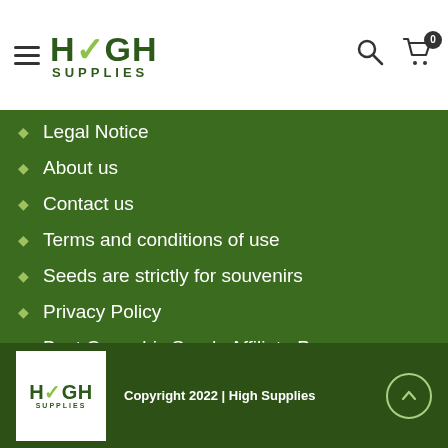HIGH SUPPLIES
Legal Notice
About us
Contact us
Terms and conditions of use
Seeds are strictly for souvenirs
Privacy Policy
Best Cannabis Seeds Affiliate Program
Copyright 2022 | High Supplies